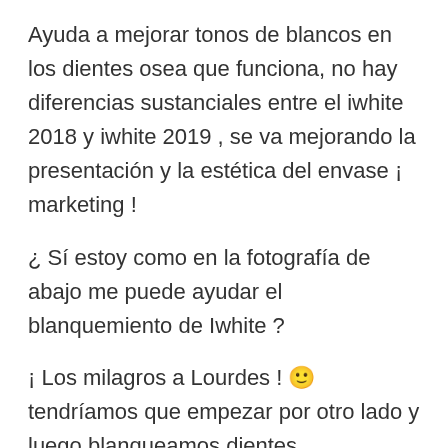Ayuda a mejorar tonos de blancos en los dientes osea que funciona, no hay diferencias sustanciales entre el iwhite 2018 y iwhite 2019 , se va mejorando la presentación y la estética del envase ¡ marketing !
¿ Sí estoy como en la fotografía de abajo me puede ayudar el blanquemiento de Iwhite ?
¡ Los milagros a Lourdes ! 🙂 tendríamos que empezar por otro lado y luego blanqueamos dientes.
Blanqueamiento Dental Iwhite
Colóquese un molde en el arco dental superior y